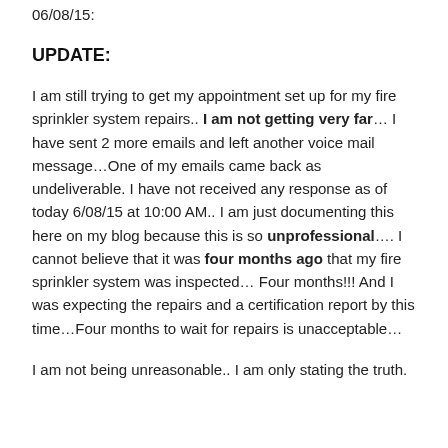06/08/15:
UPDATE:
I am still trying to get my appointment set up for my fire sprinkler system repairs.. I am not getting very far… I have sent 2 more emails and left another voice mail message…One of my emails came back as undeliverable. I have not received any response as of today 6/08/15 at 10:00 AM.. I am just documenting this here on my blog because this is so unprofessional…. I cannot believe that it was four months ago that my fire sprinkler system was inspected… Four months!!! And I was expecting the repairs and a certification report by this time…Four months to wait for repairs is unacceptable…
I am not being unreasonable.. I am only stating the truth.